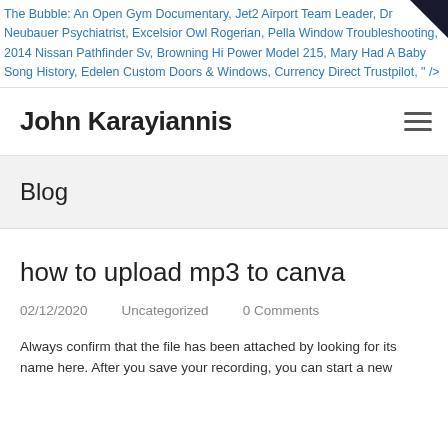The Bubble: An Open Gym Documentary, Jet2 Airport Team Leader, Dr Neubauer Psychiatrist, Excelsior Owl Rogerian, Pella Window Troubleshooting, 2014 Nissan Pathfinder Sv, Browning Hi Power Model 215, Mary Had A Baby Song History, Edelen Custom Doors & Windows, Currency Direct Trustpilot, " />
John Karayiannis
Blog
how to upload mp3 to canva
02/12/2020    Uncategorized    0 Comments
Always confirm that the file has been attached by looking for its name here. After you save your recording, you can start a new